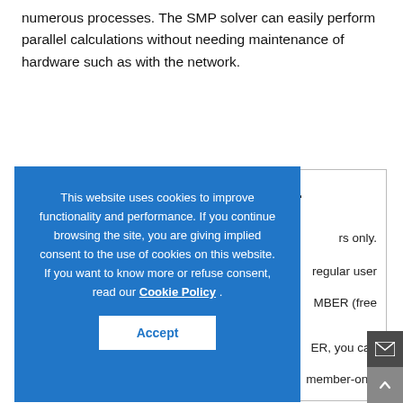numerous processes. The SMP solver can easily perform parallel calculations without needing maintenance of hardware such as with the network.
Transaction log sign-in.
...rs only.
...regular user
...MBER (free
...ER, you can
...member-only
[Figure (screenshot): Cookie consent modal overlay on a blue background. Text reads: 'This website uses cookies to improve functionality and performance. If you continue browsing the site, you are giving implied consent to the use of cookies on this website. If you want to know more or refuse consent, read our Cookie Policy . Accept button.']